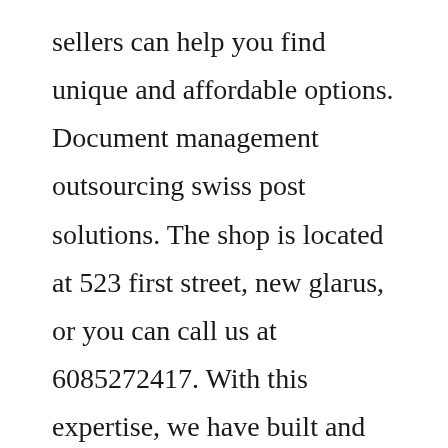sellers can help you find unique and affordable options. Document management outsourcing swiss post solutions. The shop is located at 523 first street, new glarus, or you can call us at 6085272417. With this expertise, we have built and maintained more new school gtrs and skyline gtrs than any other performance shop in houston. Sandwich orders placed in shop will have different toppings than sandwich descriptions for online orders. Based on bob levituss decades of experience working at home, he offers two techniques he finds most helpful. Allnatural